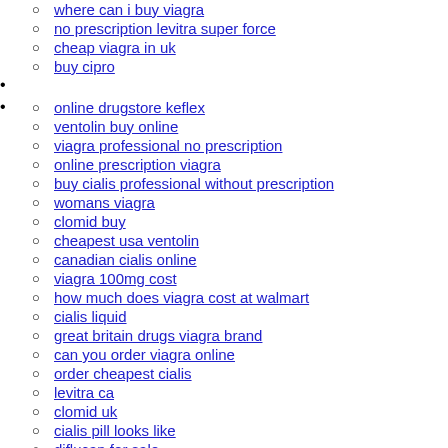where can i buy viagra
no prescription levitra super force
cheap viagra in uk
buy cipro
online drugstore keflex
ventolin buy online
viagra professional no prescription
online prescription viagra
buy cialis professional without prescription
womans viagra
clomid buy
cheapest usa ventolin
canadian cialis online
viagra 100mg cost
how much does viagra cost at walmart
cialis liquid
great britain drugs viagra brand
can you order viagra online
order cheapest cialis
levitra ca
clomid uk
cialis pill looks like
diflucan for sale
does viagra